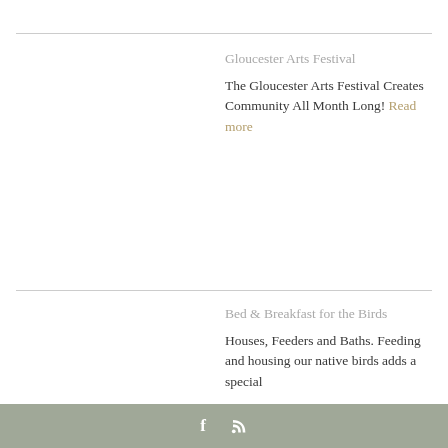Gloucester Arts Festival
The Gloucester Arts Festival Creates Community All Month Long! Read more
Bed & Breakfast for the Birds
Houses, Feeders and Baths. Feeding and housing our native birds adds a special
f [RSS icon]